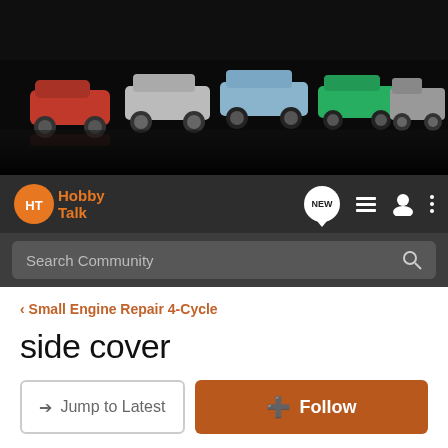[Figure (photo): Banner image showing a row of toy/model cars (red, silver, blue, green, gray) on a reflective black surface]
HobbyTalk navigation bar with logo, NEW, list, user, and menu icons
Search Community
< Small Engine Repair 4-Cycle
side cover
→ Jump to Latest
+ Follow
1 - 2 of 2 Posts
79t/a · Registered
Joined Aug 23, 2004 · 64 Posts